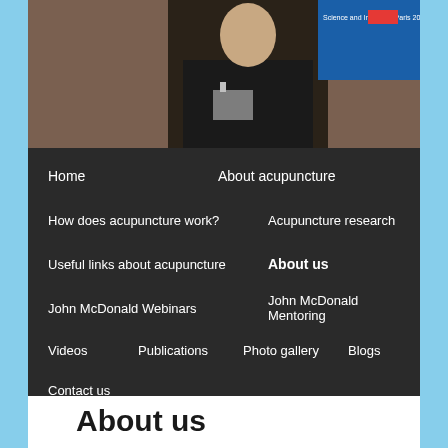[Figure (photo): Photo of a man in a dark suit at a conference, with a blue screen/banner visible in the background]
Home
About acupuncture
How does acupuncture work?
Acupuncture research
Useful links about acupuncture
About us
John McDonald Webinars
John McDonald Mentoring
Videos
Publications
Photo gallery
Blogs
Contact us
About us